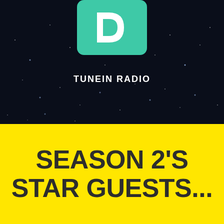[Figure (logo): TuneIn Radio logo — teal/green rounded rectangle with white letter D shape, partially cropped at top]
TUNEIN RADIO
SEASON 2'S STAR GUESTS...